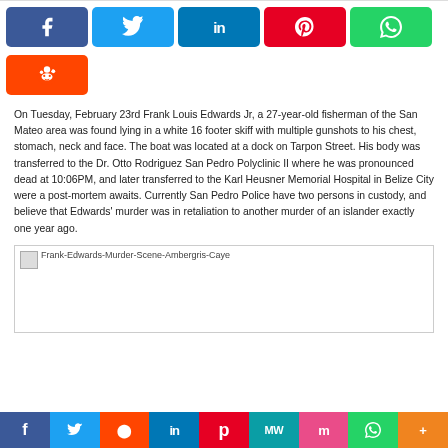[Figure (infographic): Social media share buttons row: Facebook (blue), Twitter (light blue), LinkedIn (dark blue), Pinterest (red), WhatsApp (green), Reddit (orange)]
On Tuesday, February 23rd Frank Louis Edwards Jr, a 27-year-old fisherman of the San Mateo area was found lying in a white 16 footer skiff with multiple gunshots to his chest, stomach, neck and face. The boat was located at a dock on Tarpon Street. His body was transferred to the Dr. Otto Rodriguez San Pedro Polyclinic II where he was pronounced dead at 10:06PM, and later transferred to the Karl Heusner Memorial Hospital in Belize City were a post-mortem awaits. Currently San Pedro Police have two persons in custody, and believe that Edwards' murder was in retaliation to another murder of an islander exactly one year ago.
[Figure (photo): Frank-Edwards-Murder-Scene-Ambergris-Caye — broken image placeholder]
[Figure (infographic): Bottom social share bar: Facebook, Twitter, Reddit, LinkedIn, Pinterest, MW, Mix, WhatsApp, More]